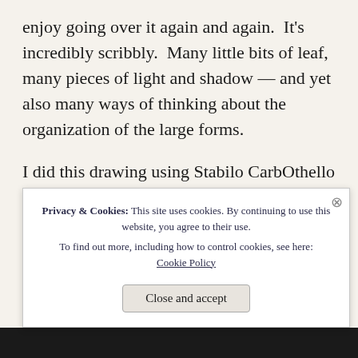enjoy going over it again and again.  It's incredibly scribbly.  Many little bits of leaf, many pieces of light and shadow — and yet also many ways of thinking about the organization of the large forms.
I did this drawing using Stabilo CarbOthello pastel pencil.  Then put a bit of watercolor over that.
I have lost count how many variations this is.  I love t... h... h...
Privacy & Cookies: This site uses cookies. By continuing to use this website, you agree to their use.
To find out more, including how to control cookies, see here:
Cookie Policy

Close and accept